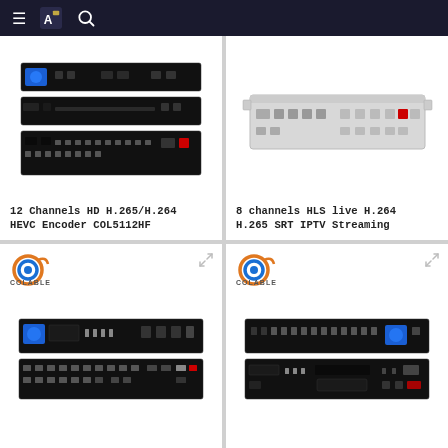Navigation header with menu, logo, and search icons
[Figure (photo): 12 Channels HD H.265/H.264 HEVC Encoder COL5112HF - black rack-mount unit, multiple units stacked]
12 Channels HD H.265/H.264 HEVC Encoder COL5112HF
[Figure (photo): 8 channels HLS live H.264 H.265 SRT IPTV Streaming - white/silver rack-mount encoder unit]
8 channels HLS live H.264 H.265 SRT IPTV Streaming
[Figure (photo): Colable branded black rack-mount encoder with LCD display and multiple ports on rear]
[Figure (photo): Colable branded black rack-mount unit with multiple rear ports and connectors]